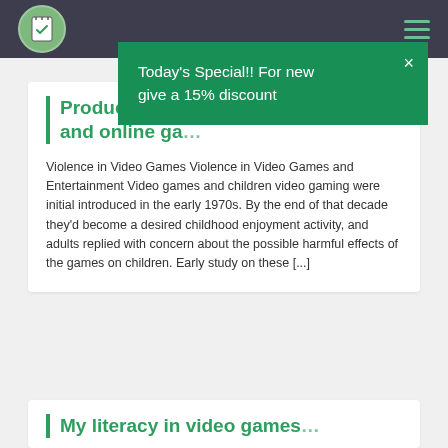Navigation bar with logo and hamburger menu
Producing of video games and online ga…
Violence in Video Games Violence in Video Games and Entertainment Video games and children video gaming were initial introduced in the early 1970s. By the end of that decade they'd become a desired childhood enjoyment activity, and adults replied with concern about the possible harmful effects of the games on children. Early study on these [...]
[Figure (infographic): Green popup banner overlay reading: Today's Special!! For new give a 15% discount, with a close (×) button]
My literacy in video games…